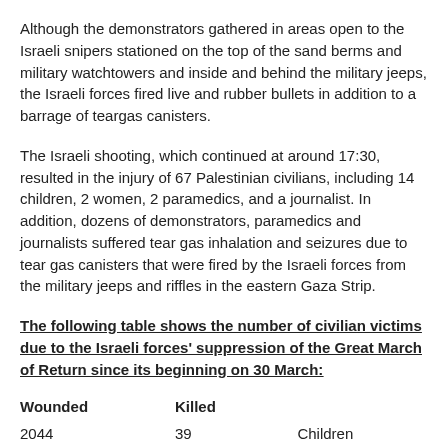Although the demonstrators gathered in areas open to the Israeli snipers stationed on the top of the sand berms and military watchtowers and inside and behind the military jeeps, the Israeli forces fired live and rubber bullets in addition to a barrage of teargas canisters.
The Israeli shooting, which continued at around 17:30, resulted in the injury of 67 Palestinian civilians, including 14 children, 2 women, 2 paramedics, and a journalist. In addition, dozens of demonstrators, paramedics and journalists suffered tear gas inhalation and seizures due to tear gas canisters that were fired by the Israeli forces from the military jeeps and riffles in the eastern Gaza Strip.
The following table shows the number of civilian victims due to the Israeli forces' suppression of the Great March of Return since its beginning on 30 March:
| Wounded | Killed |  |
| --- | --- | --- |
| 2044 | 39 | Children |